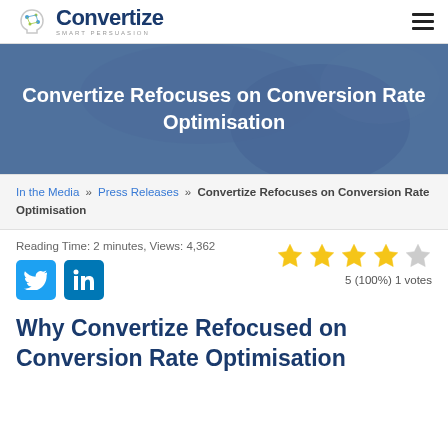Convertize SMART PERSUASION
[Figure (illustration): Blue hero banner with blurred background showing a person using a phone, overlay text: Convertize Refocuses on Conversion Rate Optimisation]
Convertize Refocuses on Conversion Rate Optimisation
In the Media » Press Releases » Convertize Refocuses on Conversion Rate Optimisation
Reading Time: 2 minutes, Views: 4,362
[Figure (illustration): Star rating: 5 stars filled (4 gold, 1 grey), 5 (100%) 1 votes]
Why Convertize Refocused on Conversion Rate Optimisation